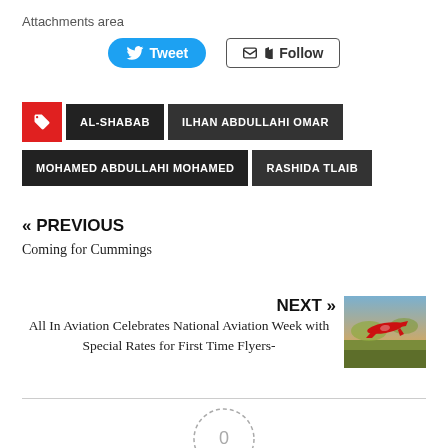Attachments area
[Figure (other): Tweet and Follow social buttons]
AL-SHABAB
ILHAN ABDULLAHI OMAR
MOHAMED ABDULLAHI MOHAMED
RASHIDA TLAIB
« PREVIOUS
Coming for Cummings
NEXT »
All In Aviation Celebrates National Aviation Week with Special Rates for First Time Flyers-
[Figure (photo): Aerial photo of a red plane over landscape]
[Figure (other): Circle with zero (0) inside, dashed border]